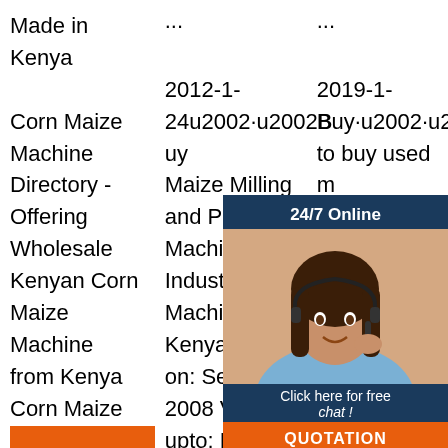Made in Kenya
···
···
Corn Maize Machine Directory - Offering Wholesale Kenyan Corn Maize Machine from Kenya Corn Maize Machine Manufacturers, Suppliers and Distributors at TradeKey.com
2012-1-24u2002·u2002Buy Maize Milling and Packaging Machine, Industrial Machinery, Kenya. Posted on: Sep 03, 2008 Valid upto: Mar 03, 2009 Buyer: joe Location: Kenya. Kenya. Quote Now. Here is what
2019-1-Buy·u2002·u2002Wa to buy used m M (C to Ho G Na Po 05, 2011 Valid upto: Mar 05, 2012 Buyer plazza printes and
[Figure (photo): Customer service representative with headset, overlaid with '24/7 Online' header, 'Click here for free chat!' text, and an orange QUOTATION button]